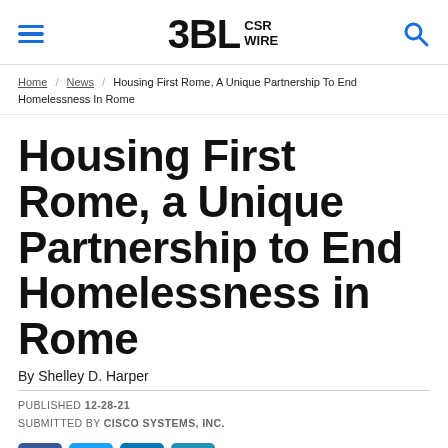3BL CSR WIRE
Home / News / Housing First Rome, A Unique Partnership To End Homelessness In Rome
Housing First Rome, a Unique Partnership to End Homelessness in Rome
By Shelley D. Harper
PUBLISHED 12-28-21
SUBMITTED BY CISCO SYSTEMS, INC.
[Figure (other): Social media share buttons: Facebook, Twitter, LinkedIn, Email]